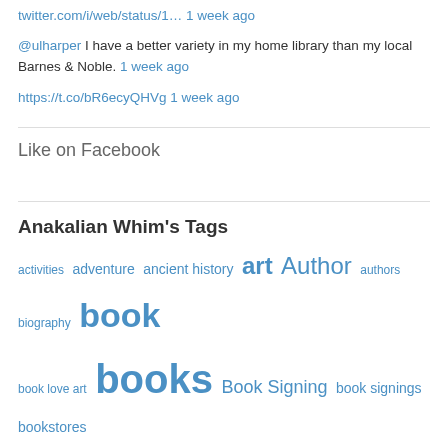twitter.com/i/web/status/1… 1 week ago
@ulharper I have a better variety in my home library than my local Barnes & Noble. 1 week ago
https://t.co/bR6ecyQHVg 1 week ago
Like on Facebook
Anakalian Whim's Tags
activities adventure ancient history art Author authors biography book book love art books Book Signing book signings bookstores children's books childrens classical education coffee coming of age cozy domestic cozy Earth Day education Events family